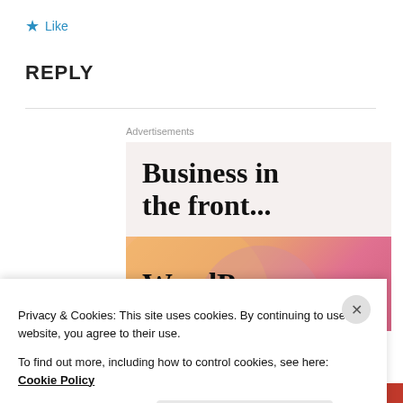★ Like
REPLY
[Figure (screenshot): WordPress advertisement banner: top half shows 'Business in the front...' text on light beige background; bottom half shows 'WordPress' text on orange-to-pink gradient background with circular shapes, partially cut off.]
Privacy & Cookies: This site uses cookies. By continuing to use this website, you agree to their use.
To find out more, including how to control cookies, see here: Cookie Policy
Close and accept